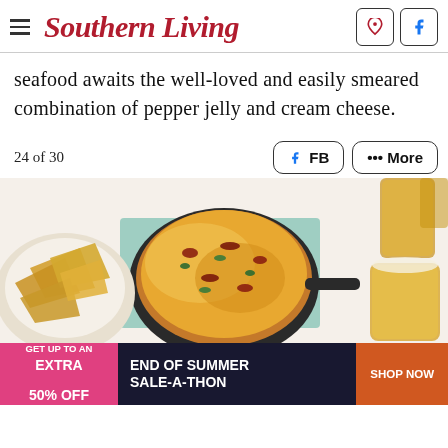Southern Living
seafood awaits the well-loved and easily smeared combination of pepper jelly and cream cheese.
24 of 30
[Figure (photo): Overhead view of a bubbling cheesy dip with bacon bits and herbs in a cast iron skillet, alongside a bowl of tortilla chips and glasses of beer on a teal napkin.]
[Figure (infographic): Advertisement banner: GET UP TO AN EXTRA 50% OFF - END OF SUMMER SALE-A-THON - SHOP NOW]